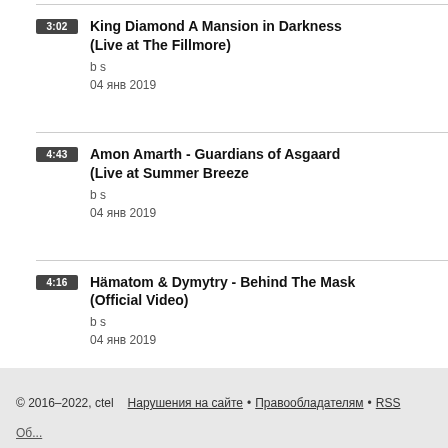3:02 King Diamond A Mansion in Darkness (Live at The Fillmore) b s 04 янв 2019
4:43 Amon Amarth - Guardians of Asgaard (Live at Summer Breeze b s 04 янв 2019
4:16 Hämatom & Dymytry - Behind The Mask (Official Video) b s 04 янв 2019
© 2016–2022, ctel  Нарушения на сайте · Правообладателям · RSS  Об...